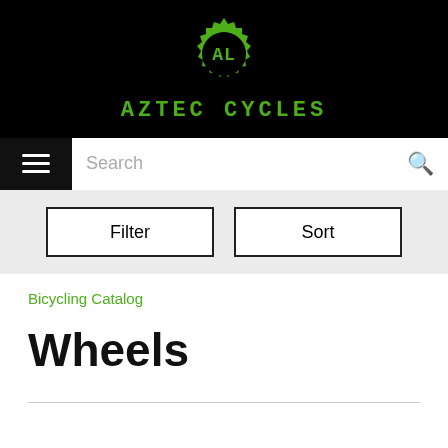[Figure (logo): Aztec Cycles logo: green gear/cog icon with 'AL' letters inside, and 'AZTEC CYCLES' text below in green monospace font on black background]
Search
Filter | Sort
Bicycling Catalog
Wheels